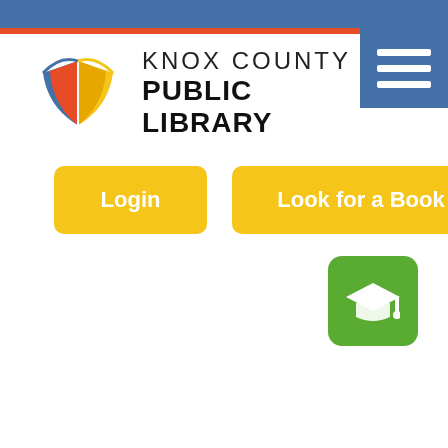[Figure (logo): Knox County Public Library logo with open book icon in yellow, red, blue colors and text KNOX COUNTY PUBLIC LIBRARY]
[Figure (other): Hamburger menu icon (three white lines) on blue background in top right corner]
[Figure (other): Login button - yellow rounded rectangle with white bold text Login]
[Figure (other): Look for a Book button - yellow rounded rectangle with white bold text Look for a Book]
[Figure (other): Green rounded square button with white graduation cap icon]